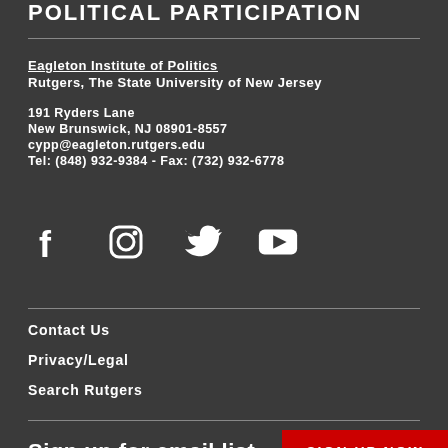POLITICAL PARTICIPATION
Eagleton Institute of Politics
Rutgers, The State University of New Jersey

191 Ryders Lane
New Brunswick, NJ 08901-8557
cypp@eagleton.rutgers.edu
Tel: (848) 932-9384  -  Fax: (732) 932-6778
[Figure (infographic): Social media icons: Facebook, Instagram, Twitter, YouTube]
Contact Us
Privacy/Legal
Search Rutgers
Sign up for email list
SIGN UP NOW